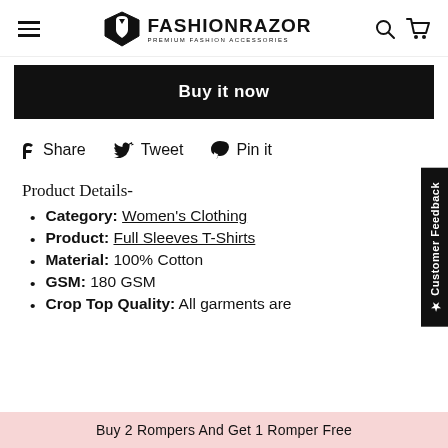FashionRazor — Premium Fashion Accessories
Buy it now
Share  Tweet  Pin it
Product Details-
Category: Women's Clothing
Product: Full Sleeves T-Shirts
Material: 100% Cotton
GSM: 180 GSM
Crop Top Quality: All garments are
Buy 2 Rompers And Get 1 Romper Free